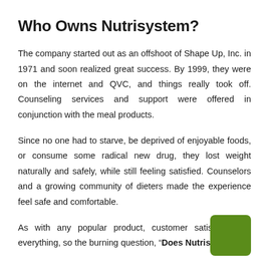Who Owns Nutrisystem?
The company started out as an offshoot of Shape Up, Inc. in 1971 and soon realized great success. By 1999, they were on the internet and QVC, and things really took off. Counseling services and support were offered in conjunction with the meal products.
Since no one had to starve, be deprived of enjoyable foods, or consume some radical new drug, they lost weight naturally and safely, while still feeling satisfied. Counselors and a growing community of dieters made the experience feel safe and comfortable.
As with any popular product, customer satisfaction is everything, so the burning question, “Does Nutrisystem